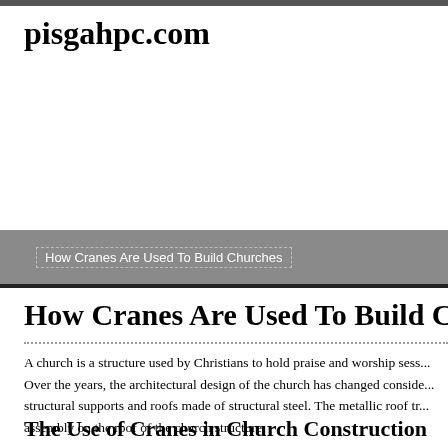pisgahpc.com
How Cranes Are Used To Build Churches
How Cranes Are Used To Build Chu
A church is a structure used by Christians to hold praise and worship sess... Over the years, the architectural design of the church has changed conside... structural supports and roofs made of structural steel. The metallic roof tr... assembly on the roof of the church structure.
The Use of Cranes in Church Construction